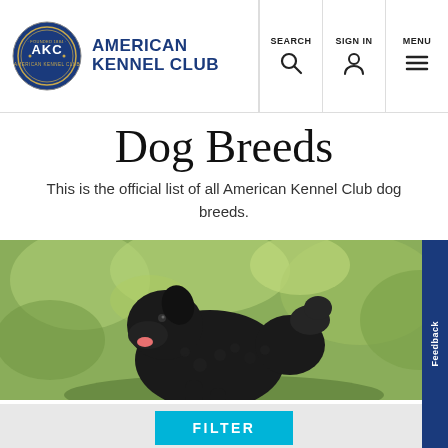American Kennel Club — SEARCH, SIGN IN, MENU
Dog Breeds
This is the official list of all American Kennel Club dog breeds.
[Figure (photo): A black curly-coated dog (Black Russian Terrier) outdoors with mouth open, green foliage background, with a FILTER button overlay.]